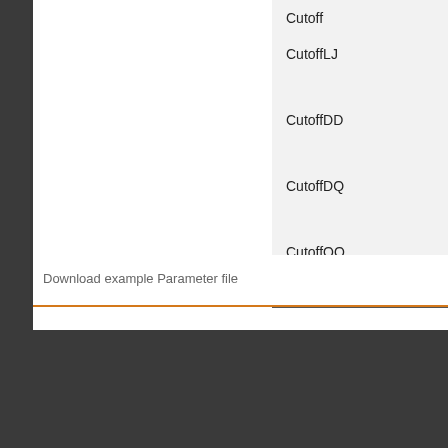Cutoff
CutoffLJ
CutoffDD
CutoffDQ
CutoffQQ
Epsilon
Download example Parameter file